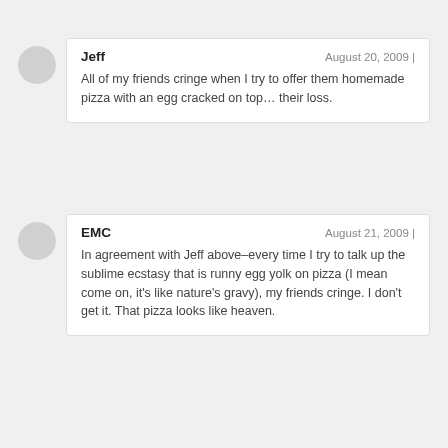[Figure (illustration): Grey circular avatar placeholder for commenter Jeff]
Jeff
August 20, 2009 |
All of my friends cringe when I try to offer them homemade pizza with an egg cracked on top… their loss.
[Figure (illustration): Grey circular avatar placeholder for commenter EMC]
EMC
August 21, 2009 |
In agreement with Jeff above–every time I try to talk up the sublime ecstasy that is runny egg yolk on pizza (I mean come on, it's like nature's gravy), my friends cringe. I don't get it. That pizza looks like heaven.